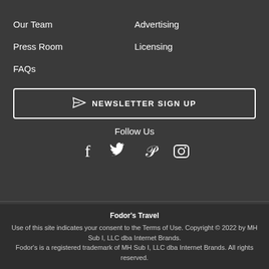Our Team
Advertising
Press Room
Licensing
FAQs
NEWSLETTER SIGN UP
Follow Us
[Figure (infographic): Social media icons: Facebook, Twitter, Pinterest, Instagram]
Fodor's Travel
Use of this site indicates your consent to the Terms of Use. Copyright © 2022 by MH Sub I, LLC dba Internet Brands.
Fodor's is a registered trademark of MH Sub I, LLC dba Internet Brands. All rights reserved.